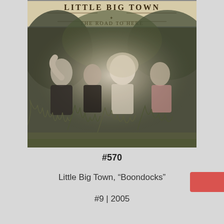[Figure (photo): Album cover for Little Big Town 'The Road to Here' showing four band members standing in tall grass with a vintage-style text header reading 'Little Big Town - The Road to Here']
#570
Little Big Town, “Boondocks”
#9 | 2005